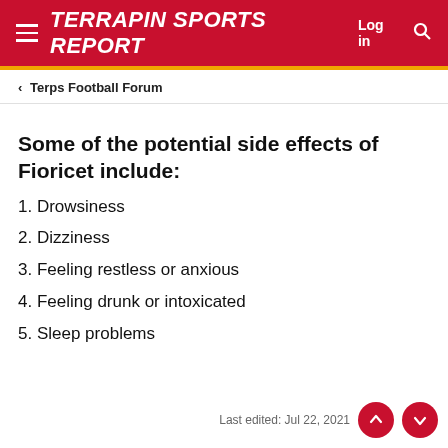TERRAPIN SPORTS REPORT  Log in
< Terps Football Forum
Some of the potential side effects of Fioricet include:
1. Drowsiness
2. Dizziness
3. Feeling restless or anxious
4. Feeling drunk or intoxicated
5. Sleep problems
Last edited: Jul 22, 2021